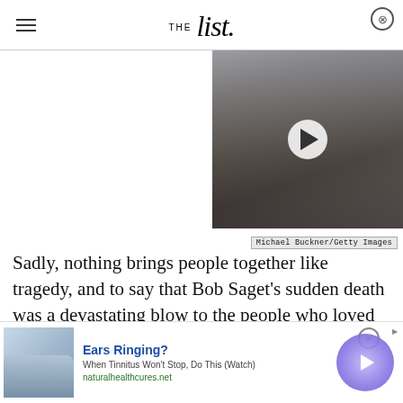THE list.
[Figure (photo): Video thumbnail showing a blonde woman sitting in a car, with a white circular play button overlay. Airport visible in background.]
Michael Buckner/Getty Images
Sadly, nothing brings people together like tragedy, and to say that Bob Saget's sudden death was a devastating blow to the people who loved him is an
[Figure (photo): Advertisement banner: Person lying down with water bottle. Ears Ringing? When Tinnitus Won't Stop, Do This (Watch). naturalhealthcures.net]